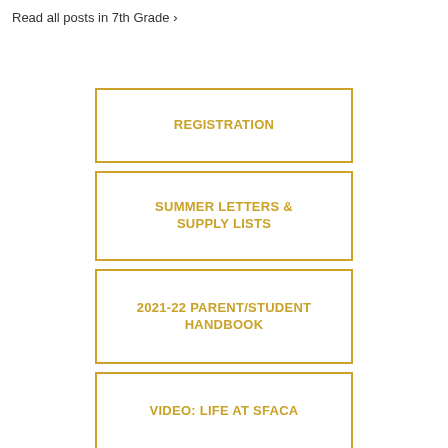Read all posts in 7th Grade ›
REGISTRATION
SUMMER LETTERS & SUPPLY LISTS
2021-22 PARENT/STUDENT HANDBOOK
VIDEO: LIFE AT SFACA
SAFETY PLAN